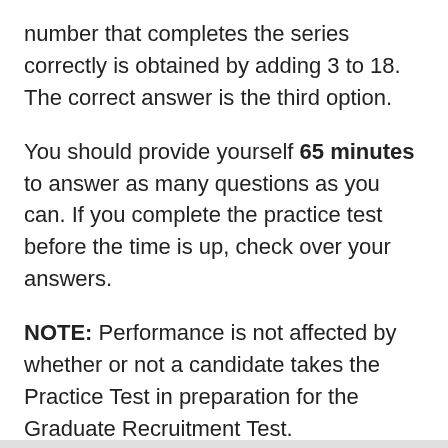number that completes the series correctly is obtained by adding 3 to 18. The correct answer is the third option.
You should provide yourself 65 minutes to answer as many questions as you can. If you complete the practice test before the time is up, check over your answers.
NOTE: Performance is not affected by whether or not a candidate takes the Practice Test in preparation for the Graduate Recruitment Test.